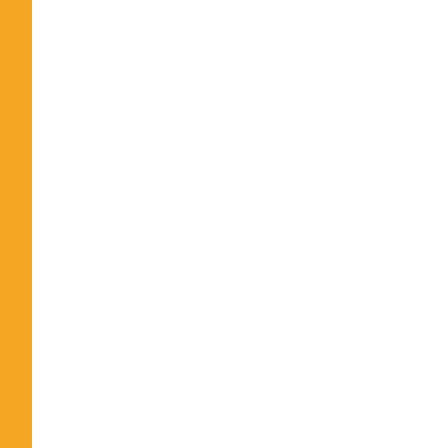| No. | Date | Title |
| --- | --- | --- |
|  |  | Drug Abuse... |
| 25. | 27/07/2022 | LAST DATE Environment and Children... |
| 26. | 27/07/2022 | Response to objections in... |
| 27. | 22/07/2022 | Press Relea... and PUTHA... |
| 28. | 21/07/2022 | Press releas... Test-2022 |
| 29. | 21/07/2022 | Press Relea... |
| 30. | 20/07/2022 | Press Relea... |
| 31. | 20/07/2022 | Answer Key... |
| 32. | 20/07/2022 | Question Bo... |
| 33. | 20/07/2022 | Answer Key... |
| 34. | 20/07/2022 | Question Bo... |
| 35. | 19/07/2022 | Response to objections in... |
| 36. | 12/07/2022 | Press releas... |
| 37. | 12/07/2022 | Answer Key... |